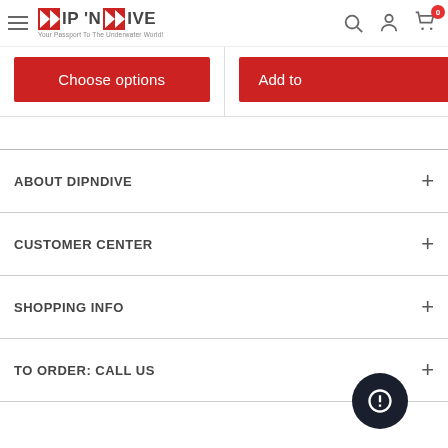DIP 'N DIVE — Your Passport To The Underwater World!
[Figure (screenshot): Red 'Choose options' button and partially visible 'Add to cart' button in product listing]
ABOUT DIPNDIVE
CUSTOMER CENTER
SHOPPING INFO
TO ORDER: CALL US